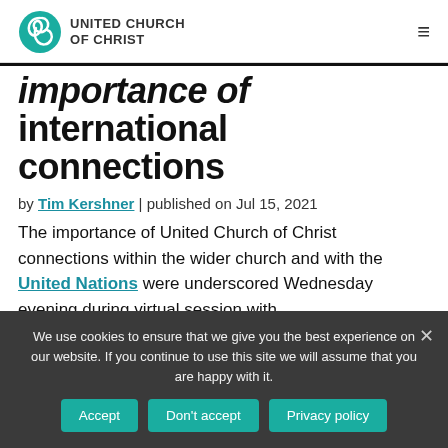UNITED CHURCH OF CHRIST
importance of international connections
by Tim Kershner | published on Jul 15, 2021 The importance of United Church of Christ connections within the wider church and with the United Nations were underscored Wednesday evening during virtual session with
We use cookies to ensure that we give you the best experience on our website. If you continue to use this site we will assume that you are happy with it.